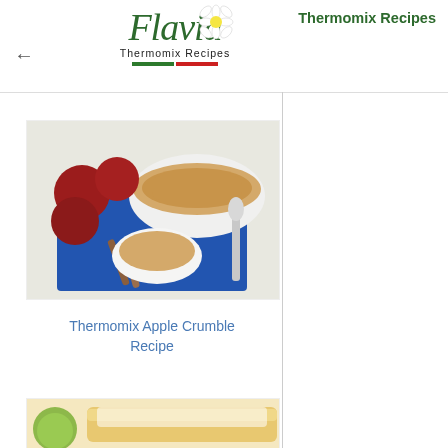Thermomix Recipes
[Figure (logo): Flavia Thermomix Recipes logo with flower, cursive text and Italian flag bar]
[Figure (photo): Apple crumble in a white baking dish with red apples, cinnamon sticks, on a blue napkin with spoon]
Thermomix Apple Crumble Recipe
[Figure (photo): Partially visible strudel or pastry with powdered sugar and green apple]